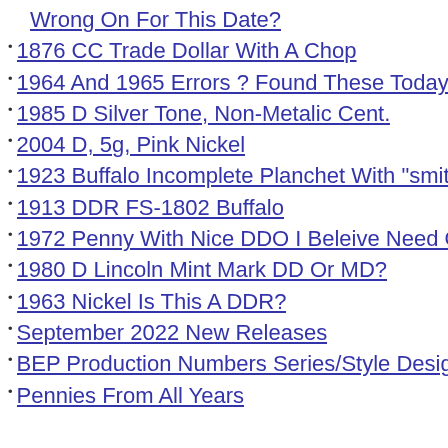Wrong On For This Date?
1876 CC Trade Dollar With A Chop
1964 And 1965 Errors ? Found These Today
1985 D Silver Tone, Non-Metalic Cent.
2004 D, 5g, Pink Nickel
1923 Buffalo Incomplete Planchet With "smith R
1913 DDR FS-1802 Buffalo
1972 Penny With Nice DDO I Beleive Need Opin
1980 D Lincoln Mint Mark DD Or MD?
1963 Nickel Is This A DDR?
September 2022 New Releases
BEP Production Numbers Series/Style Designat
Pennies From All Years